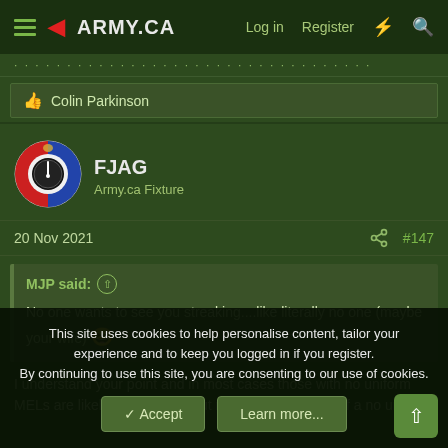ARMY.CA — Log in | Register
Colin Parkinson
FJAG
Army.ca Fixture
20 Nov 2021  #147
MJP said: ↑
No one wants to see you streaking....like literally no one (maybe your wife) 😆

I understand your point and in most cases those with no uniform MELs are likely on their way out medically. However, if a no uniform
This site uses cookies to help personalise content, tailor your experience and to keep you logged in if you register.
By continuing to use this site, you are consenting to our use of cookies.
Accept  Learn more...